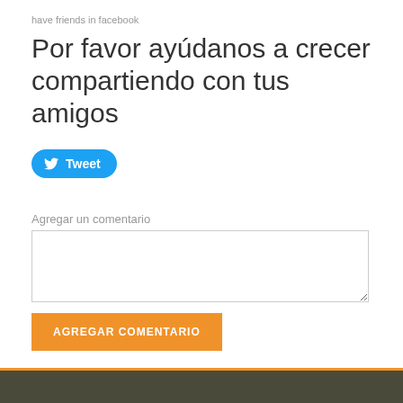have friends in facebook
Por favor ayúdanos a crecer compartiendo con tus amigos
[Figure (other): Twitter Tweet button with bird icon]
Agregar un comentario
AGREGAR COMENTARIO